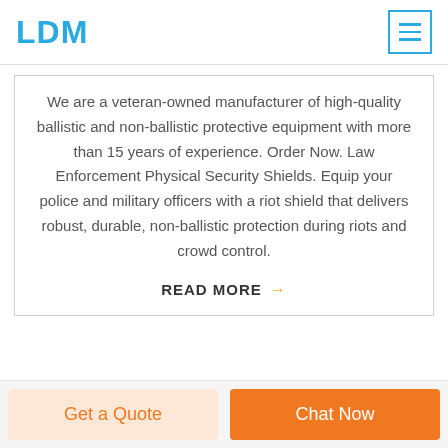LDM
We are a veteran-owned manufacturer of high-quality ballistic and non-ballistic protective equipment with more than 15 years of experience. Order Now. Law Enforcement Physical Security Shields. Equip your police and military officers with a riot shield that delivers robust, durable, non-ballistic protection during riots and crowd control.
READ MORE →
Get a Quote
Chat Now